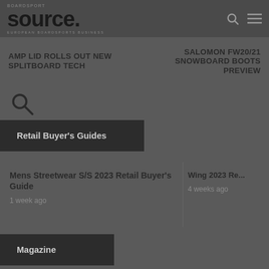BOARDSPORT SOURCE - European Boardsports Business
AMP LID ROLLS OUT NEW SPLITBOARD TECH
SALOMON FW20/21 SNOWBOARD BOOTS PREVIEW
Retail Buyer's Guides
Mens Streetwear S/S 2023 Retail Buyer's Guide
1 week ago
Wing 2023 Re...
4 weeks ago
Magazine